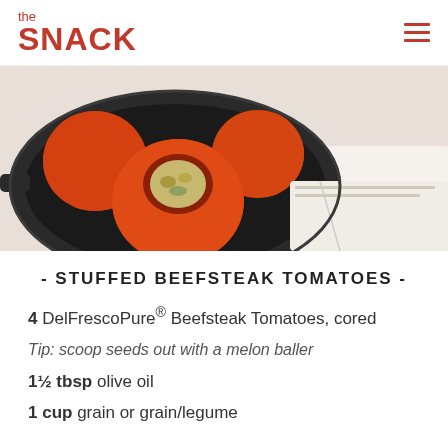the SNACK
[Figure (photo): Stuffed beefsteak tomatoes in a cast iron skillet with a white cloth napkin on the side]
- STUFFED BEEFSTEAK TOMATOES -
4 DelFrescoPure® Beefsteak Tomatoes, cored
Tip: scoop seeds out with a melon baller
1½ tbsp olive oil
1 cup grain or grain/legume